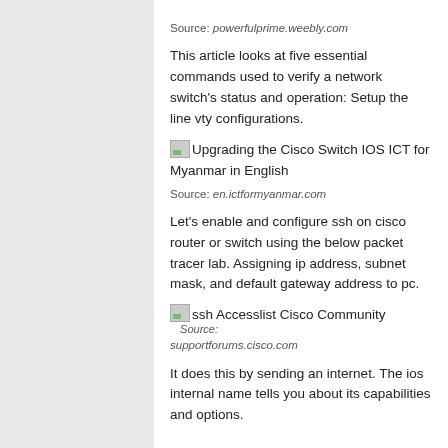Source: powerfulprime.weebly.com
This article looks at five essential commands used to verify a network switch's status and operation: Setup the line vty configurations.
[Figure (illustration): Small image placeholder thumbnail for 'Upgrading the Cisco Switch IOS ICT for Myanmar in English']
Source: en.ictformyanmar.com
Let's enable and configure ssh on cisco router or switch using the below packet tracer lab. Assigning ip address, subnet mask, and default gateway address to pc.
[Figure (illustration): Small image placeholder thumbnail for 'ssh Accesslist Cisco Community']
Source: supportforums.cisco.com
It does this by sending an internet. The ios internal name tells you about its capabilities and options.